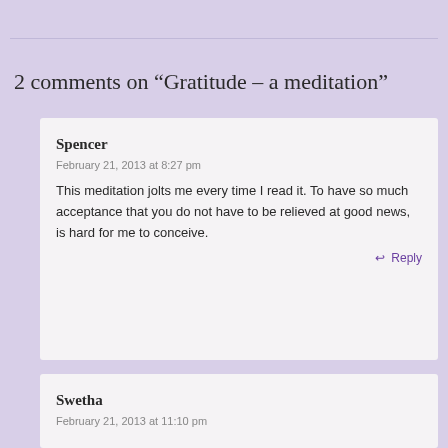2 comments on “Gratitude – a meditation”
Spencer
February 21, 2013 at 8:27 pm
This meditation jolts me every time I read it. To have so much acceptance that you do not have to be relieved at good news, is hard for me to conceive.
Reply
Swetha
February 21, 2013 at 11:10 pm
I honestly was shocked to come to the realization